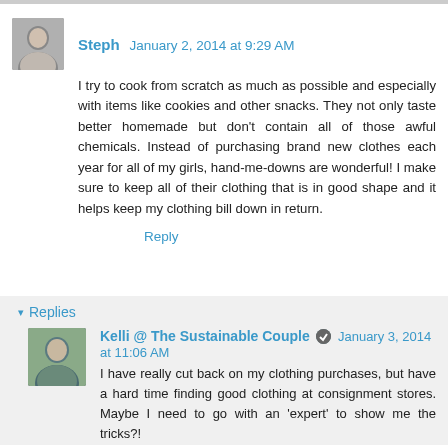Steph January 2, 2014 at 9:29 AM
I try to cook from scratch as much as possible and especially with items like cookies and other snacks. They not only taste better homemade but don't contain all of those awful chemicals. Instead of purchasing brand new clothes each year for all of my girls, hand-me-downs are wonderful! I make sure to keep all of their clothing that is in good shape and it helps keep my clothing bill down in return.
Reply
Replies
Kelli @ The Sustainable Couple January 3, 2014 at 11:06 AM
I have really cut back on my clothing purchases, but have a hard time finding good clothing at consignment stores. Maybe I need to go with an 'expert' to show me the tricks?!